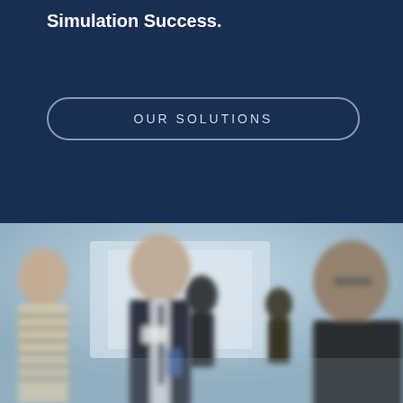Simulation Success.
OUR SOLUTIONS
[Figure (photo): Group of business professionals in suits standing and conversing at what appears to be a conference or networking event. The image is slightly blurred/bokeh effect showing multiple people engaged in discussion.]